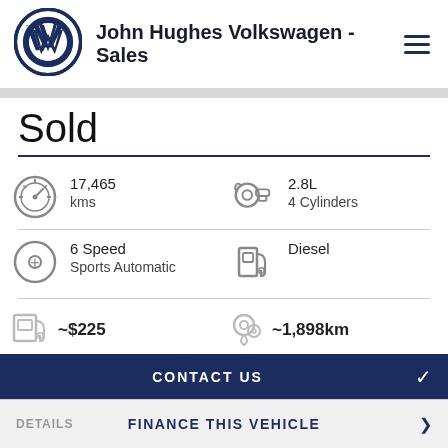John Hughes Volkswagen - Sales
Sold
17,465 kms
2.8L 4 Cylinders
6 Speed Sports Automatic
Diesel
~$225
~1,898km
CONTACT US
FINANCE THIS VEHICLE